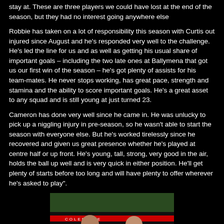stay at. These are three players we could have lost at the end of the season, but they had no interest going anywhere else
Robbie has taken on a lot of responsibility this season with Curtis out injured since August and he's responded very well to the challenge. He's led the line for us and as well as getting his usual share of important goals – including the two late ones at Ballymena that got us our first win of the season – he's got plenty of assists for his team-mates. He never stops working, has great pace, strength and stamina and the ability to score important goals. He's a great asset to any squad and is still young at just turned 23.
Cameron has done very well since he came in. He was unlucky to pick up a niggling injury in pre-season, so he wasn't able to start the season with everyone else. But he's worked tirelessly since he recovered and given us great presence whether he's played at centre half or up front. He's young, tall, strong, very good in the air, holds the ball up well and is very quick in either position. He'll get plenty of starts before too long and will have plenty to offer wherever he's asked to play".
[Figure (photo): Two people standing together in a football stadium, smiling at the camera. Stadium seating and advertising boards visible in background.]